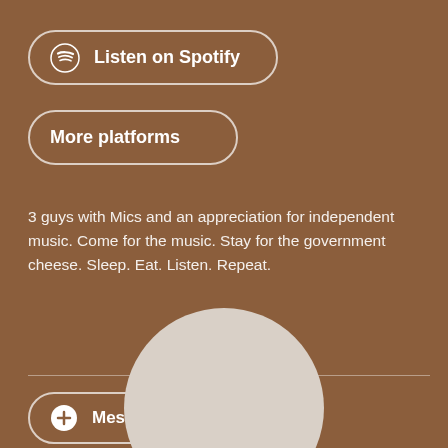[Figure (other): Listen on Spotify button with Spotify logo icon]
[Figure (other): More platforms button]
3 guys with Mics and an appreciation for independent music. Come for the music. Stay for the government cheese. Sleep. Eat. Listen. Repeat.
[Figure (other): Twitter bird icon and link/chain icon social media icons]
[Figure (other): Horizontal divider line]
[Figure (other): Message button with plus circle icon]
[Figure (other): Partial circular avatar image at bottom, light beige/gray color]